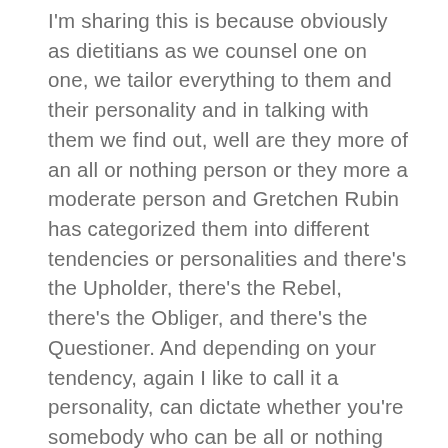I'm sharing this is because obviously as dietitians as we counsel one on one, we tailor everything to them and their personality and in talking with them we find out, well are they more of an all or nothing person or they more a moderate person and Gretchen Rubin has categorized them into different tendencies or personalities and there's the Upholder, there's the Rebel, there's the Obliger, and there's the Questioner. And depending on your tendency, again I like to call it a personality, can dictate whether you're somebody who can be all or nothing about something or you're more of a moderator and I would suffice, I would go so far to say and I think Gretchen would agree and she's talked about this, it could almost be situational. So I can be for example, I can have ice cream in my freezer and my family is a huge ice cream obsessed family and my little flavor